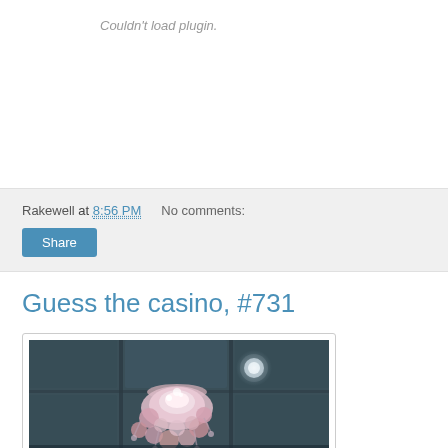Couldn't load plugin.
Rakewell at 8:56 PM   No comments:
Share
Guess the casino, #731
[Figure (photo): Interior casino ceiling photo showing an ornate chandelier with pink/white decorative elements, photographed from below looking up at a coffered ceiling with recessed lighting.]